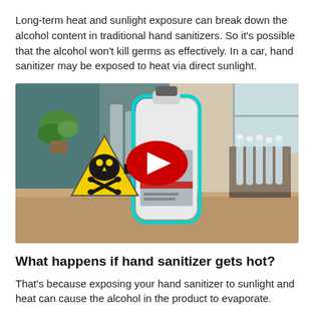Long-term heat and sunlight exposure can break down the alcohol content in traditional hand sanitizers. So it's possible that the alcohol won't kill germs as effectively. In a car, hand sanitizer may be exposed to heat via direct sunlight.
[Figure (screenshot): Video thumbnail showing a large bottle of alcohol/hand sanitizer with a cyan outline, a yellow hazard/skull-and-crossbones warning sign with a black arrow, and laboratory test tubes in the background. A red YouTube play button is centered on the image.]
What happens if hand sanitizer gets hot?
That's because exposing your hand sanitizer to sunlight and heat can cause the alcohol in the product to evaporate.